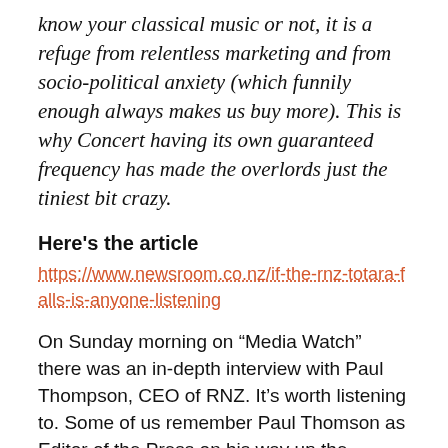know your classical music or not, it is a refuge from relentless marketing and from socio-political anxiety (which funnily enough always makes us buy more). This is why Concert having its own guaranteed frequency has made the overlords just the tiniest bit crazy.
Here's the article
https://www.newsroom.co.nz/if-the-rnz-totara-falls-is-anyone-listening
On Sunday morning on “Media Watch” there was an in-depth interview with Paul Thompson, CEO of RNZ. It’s worth listening to. Some of us remember Paul Thomson as Editor of the Press on his way up the Corporate ladder….